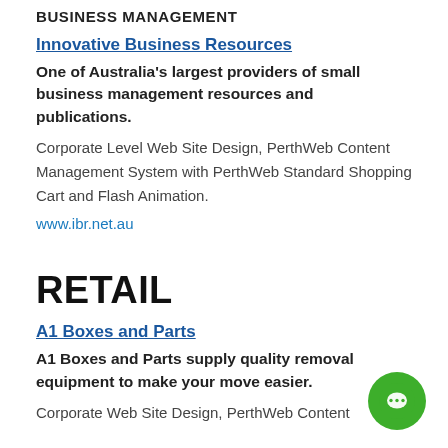BUSINESS MANAGEMENT
Innovative Business Resources
One of Australia's largest providers of small business management resources and publications.
Corporate Level Web Site Design, PerthWeb Content Management System with PerthWeb Standard Shopping Cart and Flash Animation.
www.ibr.net.au
RETAIL
A1 Boxes and Parts
A1 Boxes and Parts supply quality removal equipment to make your move easier.
Corporate Web Site Design, PerthWeb Content